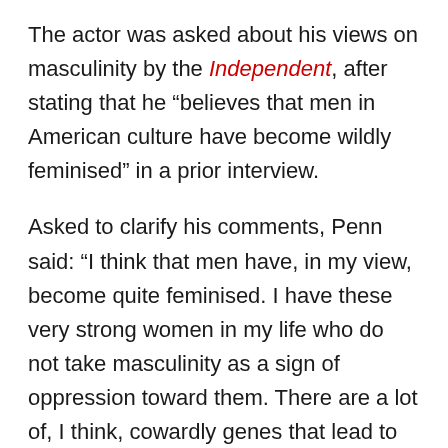The actor was asked about his views on masculinity by the Independent, after stating that he “believes that men in American culture have become wildly feminised” in a prior interview.
Asked to clarify his comments, Penn said: “I think that men have, in my view, become quite feminised. I have these very strong women in my life who do not take masculinity as a sign of oppression toward them. There are a lot of, I think, cowardly genes that lead to people surrendering their jeans and putting on a skirt.”
His comments prompted Newton to tweet in response: “Dude what are you saying? Like for real?